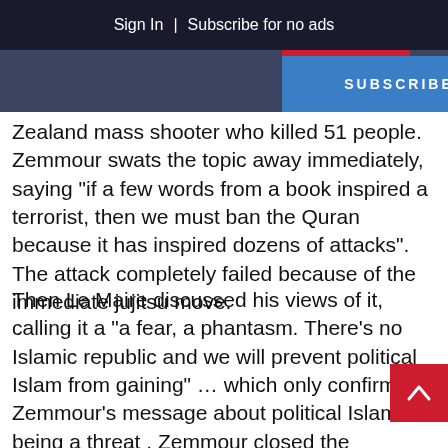Sign In | Subscribe for no ads
[Figure (screenshot): Navigation bar with red button and blue SUBSCRIBE button overlay]
Zealand mass shooter who killed 51 people. Zemmour swats the topic away immediately, saying "if a few words from a book inspired a terrorist, then we must ban the Quran because it has inspired dozens of attacks". The attack completely failed because of the immediate jujitsu move.
Then Le Maire discussed his views of it, calling it a "a fear, a phantasm. There's no Islamic republic and we will prevent political Islam from gaining" … which only confirms Zemmour's message about political Islam being a threat .  Zemmour closed the segment, throwing out a grenade: "90% of youth in Parisian banlieues are of